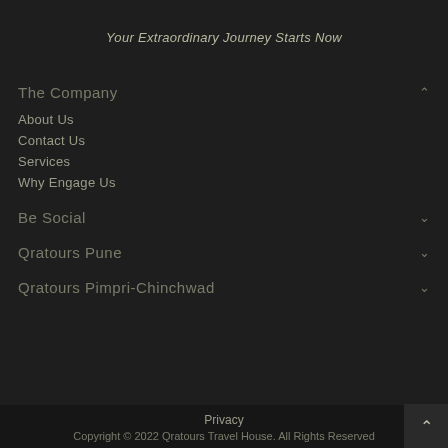Your Extraordinary Journey Starts Now
The Company
About Us
Contact Us
Services
Why Engage Us
Be Social
Qratours Pune
Qratours Pimpri-Chinchwad
Privacy
Copyright © 2022 Qratours Travel House. All Rights Reserved